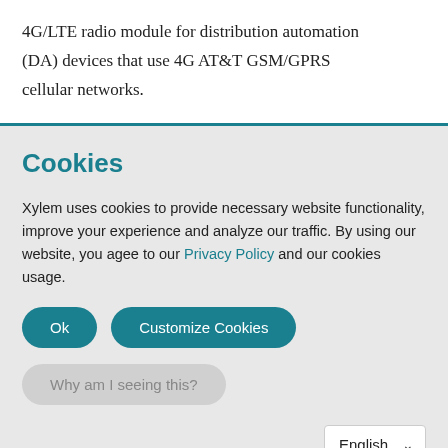4G/LTE radio module for distribution automation (DA) devices that use 4G AT&T GSM/GPRS cellular networks.
Cookies
Xylem uses cookies to provide necessary website functionality, improve your experience and analyze our traffic. By using our website, you agee to our Privacy Policy and our cookies usage.
Ok | Customize Cookies
Why am I seeing this?
English